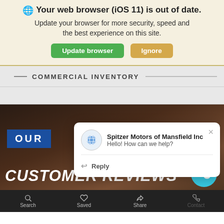🌐 Your web browser (iOS 11) is out of date. Update your browser for more security, speed and the best experience on this site.
Update browser | Ignore
COMMERCIAL INVENTORY
[Figure (screenshot): Dark brown background section showing a car dealership page with 'OUR' badge in blue and 'CUSTOMER REVIEWS' in large white italic text]
Spitzer Motors of Mansfield Inc
Hello! How can we help?
Reply
Search  Saved  Share  Contact